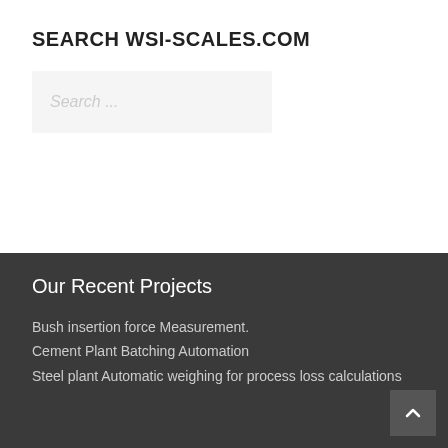SEARCH WSI-SCALES.COM
[Figure (other): Search input box with placeholder text 'Search ...']
Our Recent Projects
Bush insertion force Measurement.
Cement Plant Batching Automation
Steel plant Automatic weighing for process loss calculations